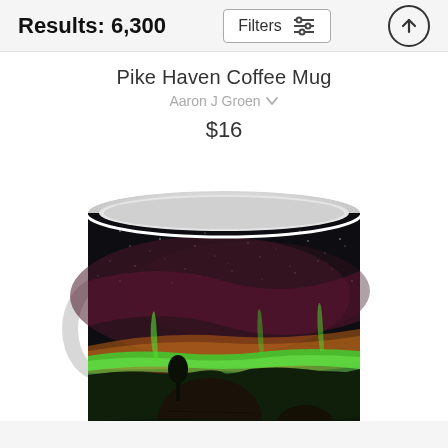Results: 6,300
Filters
Pike Haven Coffee Mug
Aaron J Groen
$16
[Figure (photo): A ceramic coffee mug featuring an aurora borealis scene over a field with a hay bale in the foreground under a starry night sky with green and red northern lights on the horizon.]